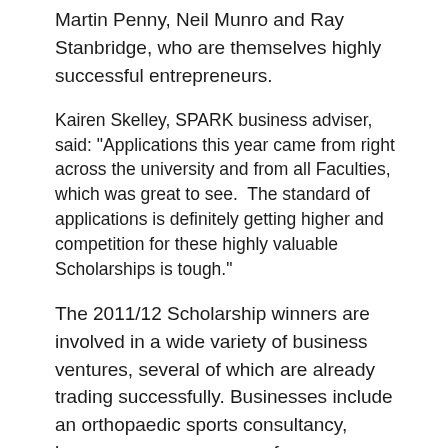Martin Penny, Neil Munro and Ray Stanbridge, who are themselves highly successful entrepreneurs.
Kairen Skelley, SPARK business adviser, said: "Applications this year came from right across the university and from all Faculties, which was great to see.  The standard of applications is definitely getting higher and competition for these highly valuable Scholarships is tough."
The 2011/12 Scholarship winners are involved in a wide variety of business ventures, several of which are already trading successfully. Businesses include an orthopaedic sports consultancy, language summer camps for schoolchildren, a swimming school, training DVDs for the catering industry, a vintage clothing e-commerce venture, as well as the development of